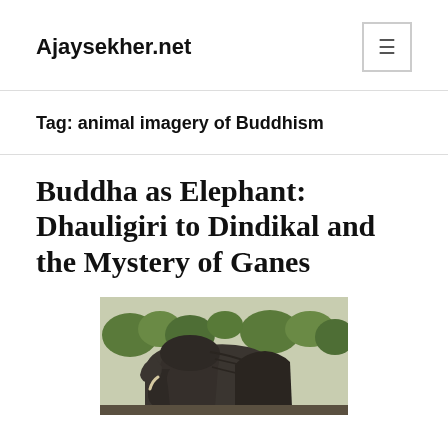Ajaysekher.net
Tag: animal imagery of Buddhism
Buddha as Elephant: Dhauligiri to Dindikal and the Mystery of Ganes
[Figure (photo): Photograph of a large dark stone elephant rock sculpture outdoors with trees in the background]